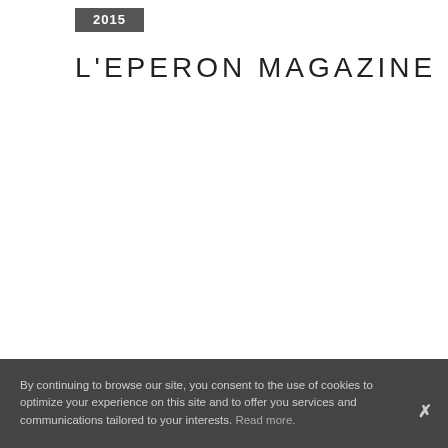2015
L'EPERON MAGAZINE
By continuing to browse our site, you consent to the use of cookies to optimize your experience on this site and to offer you services and communications tailored to your interests. Read more.